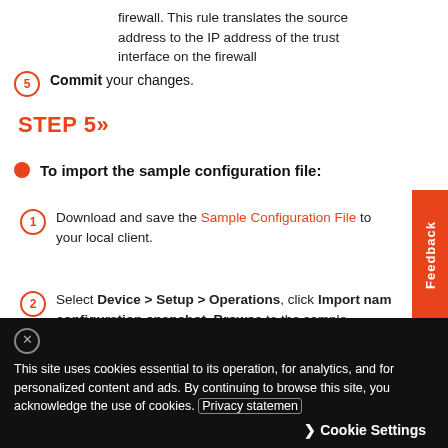firewall. This rule translates the source address to the IP address of the trust interface on the firewall
5. Commit your changes.
STEP 5»
To import the sample configuration file:
1. Download and save the Sample Configuration File to your local client.
2. Select Device > Setup > Operations, click Import named configuration snapshot, Browse to the sample configuration file that you have saved locally, and click
This site uses cookies essential to its operation, for analytics, and for personalized content and ads. By continuing to browse this site, you acknowledge the use of cookies. Privacy statement Cookie Settings